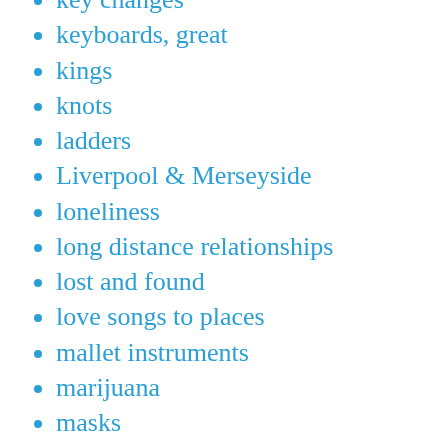key changes
keyboards, great
kings
knots
ladders
Liverpool & Merseyside
loneliness
long distance relationships
lost and found
love songs to places
mallet instruments
marijuana
masks
meta-songs
misleading titles
mixtape enders